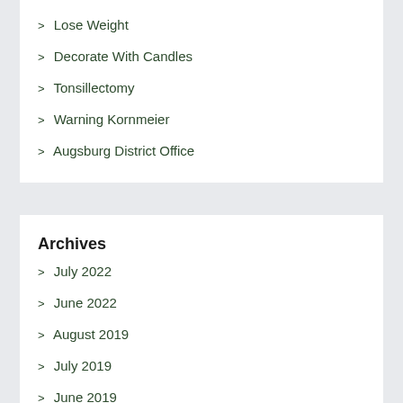Lose Weight
Decorate With Candles
Tonsillectomy
Warning Kornmeier
Augsburg District Office
Archives
July 2022
June 2022
August 2019
July 2019
June 2019
May 2019